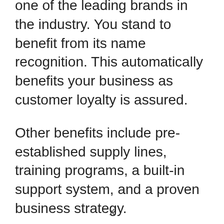one of the leading brands in the industry. You stand to benefit from its name recognition. This automatically benefits your business as customer loyalty is assured.
Other benefits include pre-established supply lines, training programs, a built-in support system, and a proven business strategy.
There is no information about the franchise cost. However, this can be
x